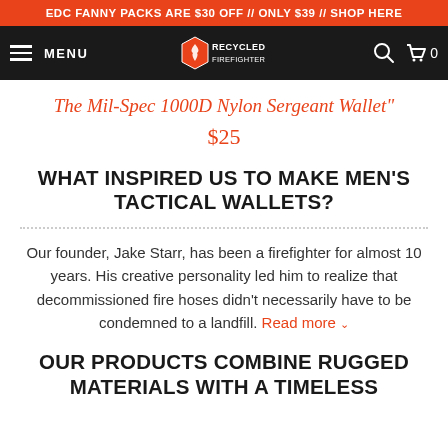EDC FANNY PACKS ARE $30 OFF // ONLY $39 // SHOP HERE
[Figure (screenshot): Navigation bar with hamburger menu, MENU label, Recycled Firefighter hexagon logo, search icon, and cart icon with 0 count]
The Mil-Spec 1000D Nylon Sergeant Wallet" $25
WHAT INSPIRED US TO MAKE MEN'S TACTICAL WALLETS?
Our founder, Jake Starr, has been a firefighter for almost 10 years. His creative personality led him to realize that decommissioned fire hoses didn't necessarily have to be condemned to a landfill. Read more
OUR PRODUCTS COMBINE RUGGED MATERIALS WITH A TIMELESS